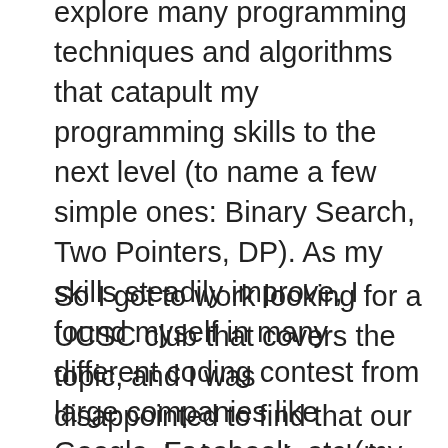explore many programming techniques and algorithms that catapult my programming skills to the next level (to name a few simple ones: Binary Search, Two Pointers, DP). As my skills steadily improve, I found myself in many different coding contest from large companies like Google, Facebook, etc (my most recent one being Facebook Hacker Cup). Being involved in the Competitive Programming community for a long time also exposes me to a very prestigious contest called ICPC ( https://icpc.global/), and from there I realized that one of my biggest dreams is to compete in the ICPC.
So I got to work looking for a UCSC club that covers the topic, and I was disappointed to find that our campus lacks such a club. Since UCSD and most UCs has such a club and we don't, I have started and currently am running a new club that specializes in Competitive Programming here at UCSC. The end goal of this club is to improve fellow